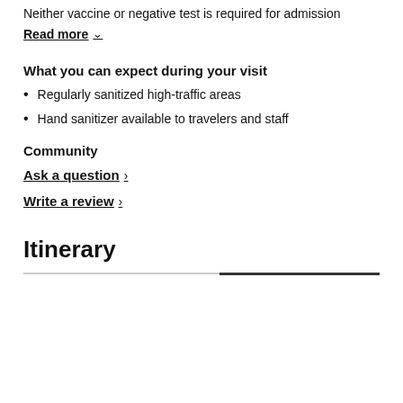Neither vaccine or negative test is required for admission
Read more ∨
What you can expect during your visit
Regularly sanitized high-traffic areas
Hand sanitizer available to travelers and staff
Community
Ask a question >
Write a review >
Itinerary